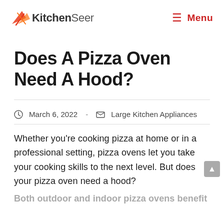KitchenSeer  Menu
Does A Pizza Oven Need A Hood?
March 6, 2022  -  Large Kitchen Appliances
Whether you're cooking pizza at home or in a professional setting, pizza ovens let you take your cooking skills to the next level. But does your pizza oven need a hood?
Both outdoor and indoor pizza ovens benefit